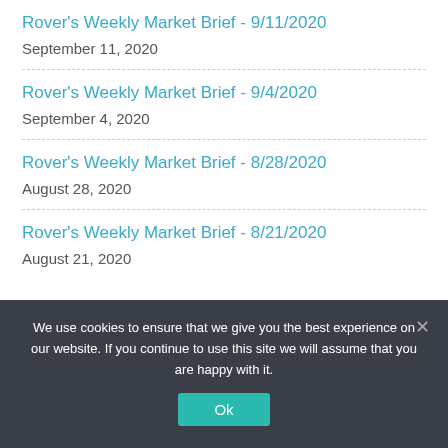Rover's Weekly Market Brief - 9/11/2020
September 11, 2020
Rover's Weekly Market Brief - 9/4/2020
September 4, 2020
Rover's Weekly Market Brief - 8/28/2020
August 28, 2020
Rover's Weekly Market Brief - 8/21/2020
August 21, 2020
We use cookies to ensure that we give you the best experience on our website. If you continue to use this site we will assume that you are happy with it.